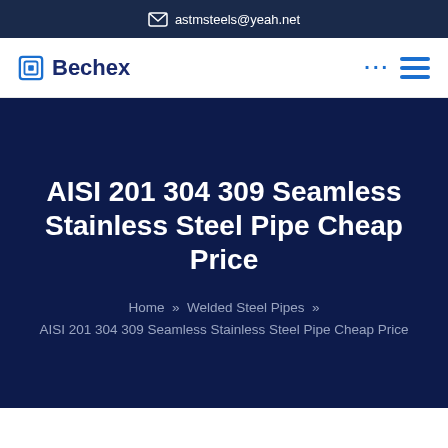✉ astmsteels@yeah.net
[Figure (logo): Bechex logo with blue square bracket icon and bold text 'Bechex']
AISI 201 304 309 Seamless Stainless Steel Pipe Cheap Price
Home » Welded Steel Pipes » AISI 201 304 309 Seamless Stainless Steel Pipe Cheap Price